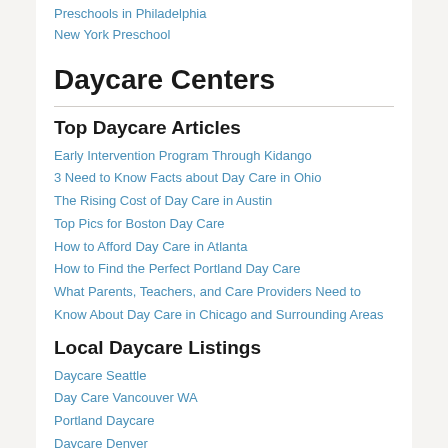Preschools in Philadelphia
New York Preschool
Daycare Centers
Top Daycare Articles
Early Intervention Program Through Kidango
3 Need to Know Facts about Day Care in Ohio
The Rising Cost of Day Care in Austin
Top Pics for Boston Day Care
How to Afford Day Care in Atlanta
How to Find the Perfect Portland Day Care
What Parents, Teachers, and Care Providers Need to Know About Day Care in Chicago and Surrounding Areas
Local Daycare Listings
Daycare Seattle
Day Care Vancouver WA
Portland Daycare
Daycare Denver
Day Care San Francisco
Day Care Los Angeles
Day Care San Diego